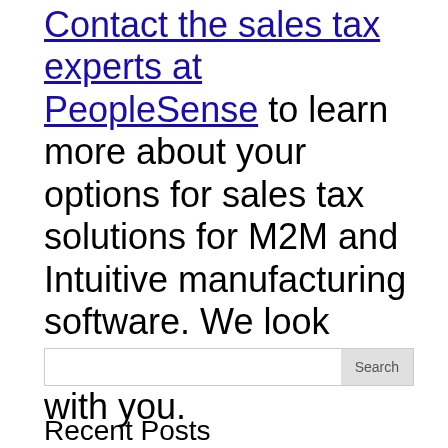Contact the sales tax experts at PeopleSense to learn more about your options for sales tax solutions for M2M and Intuitive manufacturing software. We look forward to speaking with you.
Search
Recent Posts